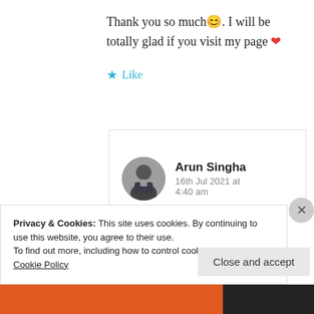Thank you so much 😊. I will be totally glad if you visit my page ❤
Like
[Figure (photo): Circular avatar photo of Arun Singha, a man in dark clothing]
Arun Singha
16th Jul 2021 at 4:40 am
Privacy & Cookies: This site uses cookies. By continuing to use this website, you agree to their use.
To find out more, including how to control cookies, see here: Cookie Policy
Close and accept